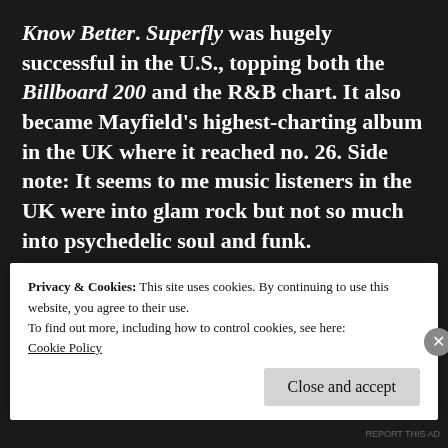Know Better. Superfly was hugely successful in the U.S., topping both the Billboard 200 and the R&B chart. It also became Mayfield's highest-charting album in the UK where it reached no. 26. Side note: It seems to me music listeners in the UK were into glam rock but not so much into psychedelic soul and funk.
[Figure (screenshot): Music player widget showing Curtis Mayfield Superfly album with artist avatar on left, album title in center, and album art (showing Curtis Mayfield's face) on right with three-dot menu button]
Privacy & Cookies: This site uses cookies. By continuing to use this website, you agree to their use.
To find out more, including how to control cookies, see here:
Cookie Policy
Close and accept